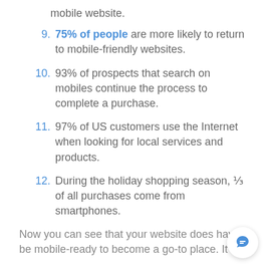mobile website.
9. 75% of people are more likely to return to mobile-friendly websites.
10. 93% of prospects that search on mobiles continue the process to complete a purchase.
11. 97% of US customers use the Internet when looking for local services and products.
12. During the holiday shopping season, ⅓ of all purchases come from smartphones.
Now you can see that your website does have to be mobile-ready to become a go-to place. It